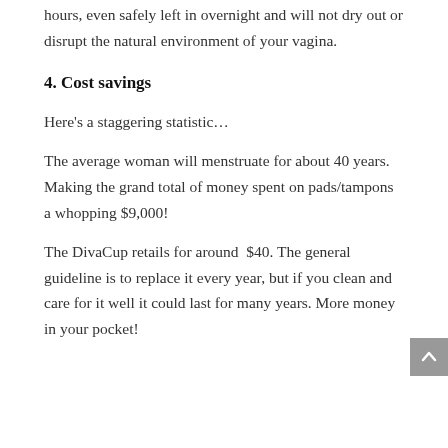hours, even safely left in overnight and will not dry out or disrupt the natural environment of your vagina.
4. Cost savings
Here's a staggering statistic…
The average woman will menstruate for about 40 years. Making the grand total of money spent on pads/tampons a whopping $9,000!
The DivaCup retails for around $40. The general guideline is to replace it every year, but if you clean and care for it well it could last for many years. More money in your pocket!